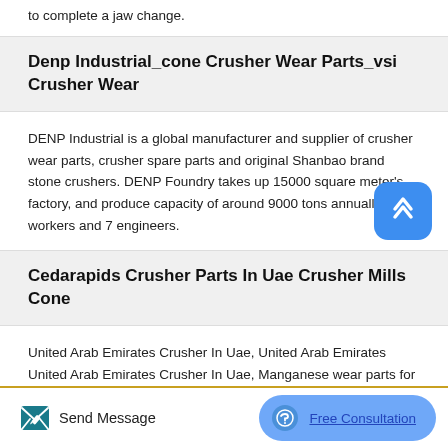to complete a jaw change.
Denp Industrial_cone Crusher Wear Parts_vsi Crusher Wear
DENP Industrial is a global manufacturer and supplier of crusher wear parts, crusher spare parts and original Shanbao brand stone crushers. DENP Foundry takes up 15000 square meter’s factory, and produce capacity of around 9000 tons annually,84 workers and 7 engineers.
Cedarapids Crusher Parts In Uae Crusher Mills Cone
United Arab Emirates Crusher In Uae, United Arab Emirates United Arab Emirates Crusher In Uae, Manganese wear parts for Jaw crusher – Cedarapids 4248 Type Jaw Crusher.
Send Message   Free Consultation